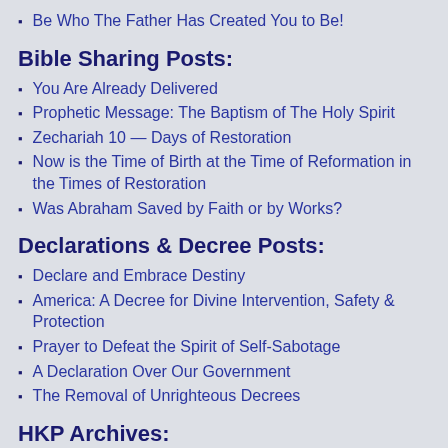Be Who The Father Has Created You to Be!
Bible Sharing Posts:
You Are Already Delivered
Prophetic Message: The Baptism of The Holy Spirit
Zechariah 10 — Days of Restoration
Now is the Time of Birth at the Time of Reformation in the Times of Restoration
Was Abraham Saved by Faith or by Works?
Declarations & Decree Posts:
Declare and Embrace Destiny
America: A Decree for Divine Intervention, Safety & Protection
Prayer to Defeat the Spirit of Self-Sabotage
A Declaration Over Our Government
The Removal of Unrighteous Decrees
HKP Archives:
Select Month